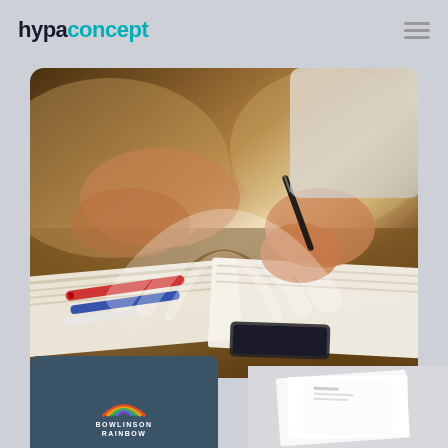[Figure (logo): hypaconcept logo: 'hypa' in dark/black bold and 'concept' in teal bold]
[Figure (photo): Close-up photo of people at a desk writing in notebooks, with pens and markers visible. A faint watermark arc/rainbow shape overlays the image.]
[Figure (logo): Bottom-left card with dark blue-grey background showing a rainbow arc logo and text 'BOWLINSON RAINBOW']
[Figure (photo): Bottom-right partial image showing white papers or letterhead on a light background]